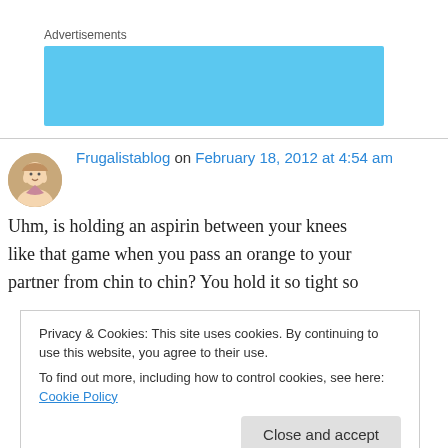Advertisements
[Figure (other): Blue advertisement block placeholder]
Frugalistablog on February 18, 2012 at 4:54 am
Uhm, is holding an aspirin between your knees like that game when you pass an orange to your partner from chin to chin? You hold it so tight so
Privacy & Cookies: This site uses cookies. By continuing to use this website, you agree to their use.
To find out more, including how to control cookies, see here: Cookie Policy
Close and accept
↳ Reply